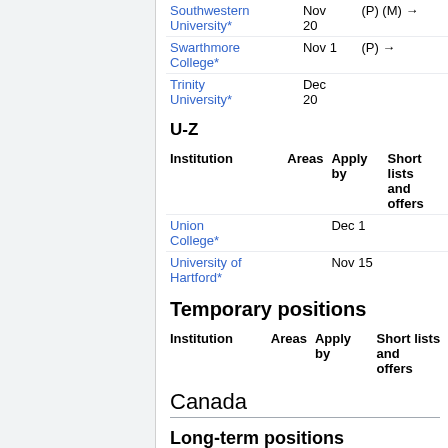| Institution | Areas | Apply by | Short lists and offers |
| --- | --- | --- | --- |
| Southwestern University* |  | Nov 20 | (P) (M) → |
| Swarthmore College* |  | Nov 1 | (P) → |
| Trinity University* |  | Dec 20 |  |
U-Z
| Institution | Areas | Apply by | Short lists and offers |
| --- | --- | --- | --- |
| Union College* |  | Dec 1 |  |
| University of Hartford* |  | Nov 15 |  |
Temporary positions
| Institution | Areas | Apply by | Short lists and offers |
| --- | --- | --- | --- |
Canada
Long-term positions